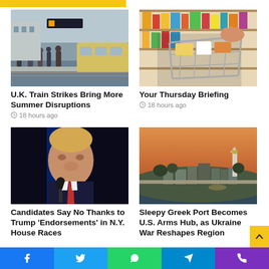[Figure (photo): Yellow accent bar at top]
[Figure (photo): People waiting on a train platform with a yellow train approaching]
U.K. Train Strikes Bring More Summer Disruptions
18 hours ago
[Figure (photo): Shopping cart in a grocery store aisle]
Your Thursday Briefing
18 hours ago
[Figure (photo): Donald Trump speaking at a microphone with blue lights behind him]
Candidates Say No Thanks to Trump 'Endorsements' in N.Y. House Races
[Figure (photo): Aerial view of a Greek port town at dusk]
Sleepy Greek Port Becomes U.S. Arms Hub, as Ukraine War Reshapes Region